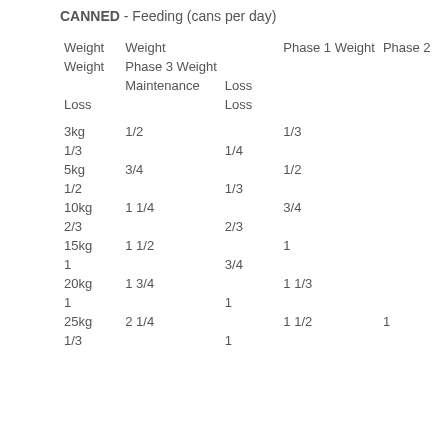CANNED - Feeding (cans per day)
| Weight | Weight | Phase 1 Weight | Phase 2 Weight | Phase 3 Weight |
| --- | --- | --- | --- | --- |
|  | Maintenance | Loss | Loss | Loss |
| 3kg | 1/2 | 1/3 | 1/3 | 1/4 |
| 5kg | 3/4 | 1/2 | 1/2 | 1/3 |
| 10kg | 1 1/4 | 3/4 | 2/3 | 2/3 |
| 15kg | 1 1/2 | 1 | 1 | 3/4 |
| 20kg | 1 3/4 | 1 1/3 | 1 | 1 |
| 25kg | 2 1/4 | 1 1/2 | 1 | 1/3 |